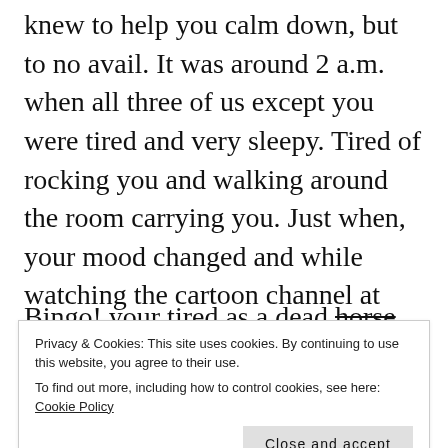knew to help you calm down, but to no avail. It was around 2 a.m. when all three of us except you were tired and very sleepy. Tired of rocking you and walking around the room carrying you. Just when, your mood changed and while watching the cartoon channel at that unearthly hour you started rocking in my lap in your favorite horse-riding motion.
Bingo! your tired as a dead horse- mare mum started. Within, next 5 minutes you were tired
Privacy & Cookies: This site uses cookies. By continuing to use this website, you agree to their use.
To find out more, including how to control cookies, see here: Cookie Policy